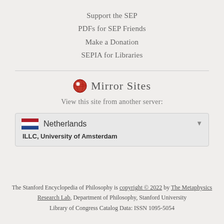Support the SEP
PDFs for SEP Friends
Make a Donation
SEPIA for Libraries
🌐 Mirror Sites
View this site from another server:
Netherlands
ILLC, University of Amsterdam
The Stanford Encyclopedia of Philosophy is copyright © 2022 by The Metaphysics Research Lab, Department of Philosophy, Stanford University
Library of Congress Catalog Data: ISSN 1095-5054